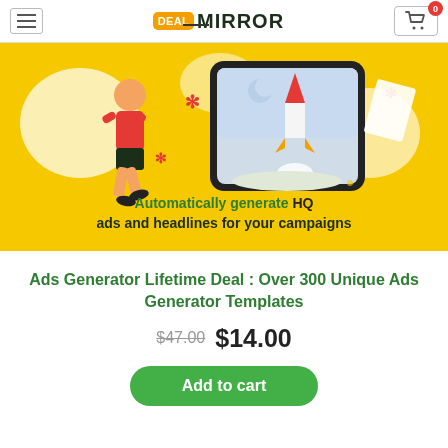DEAL MIRROR
[Figure (illustration): Yellow banner with a child running and a tablet showing a rocket launch illustration. Text overlay: 'Automatically generate HQ ads and headlines for your campaigns']
Ads Generator Lifetime Deal : Over 300 Unique Ads Generator Templates
$47.00 $14.00
Add to cart